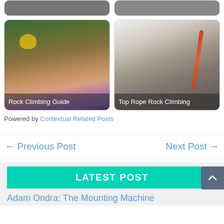[Figure (photo): Partial top row: two cropped photo cards at the top of the page, partially visible]
[Figure (photo): Card with photo of rock climbers wearing helmets outdoors, with caption 'Rock Climbing Guide']
[Figure (photo): Card with photo of woman holding climbing rope, with caption 'Top Rope Rock Climbing']
Powered by Contextual Related Posts
← Previous Post
Next Post →
LATEST POST
Adam Ondra: The Mounting Machine